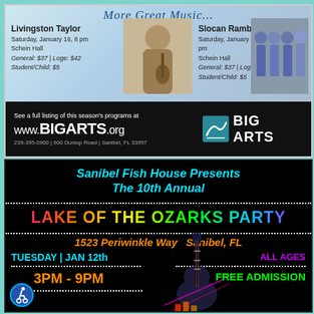[Figure (advertisement): BIG ARTS advertisement featuring Livingston Taylor (Saturday, January 16, 8pm, Schein Hall, General: $37 | Loge: $42, Student/Child: $5) and Slocan Ramblers (Saturday, January 23, 8pm, Schein Hall, General: $37 | Loge: $42, Student/Child: $5). Website: www.BIGARTS.org. Contact: 239-395-0900 | 900 Dunlop Road | Sanibel, FL 33957]
[Figure (advertisement): Sanibel Fish House Presents The 10th Annual Lake of the Ozarks Party. 1523 Periwinkle Way Sanibel, FL. Tuesday | Jan 12th. ALL AGES. 3PM - 9PM. FREE ADMISSION. Wheelchair accessible.]